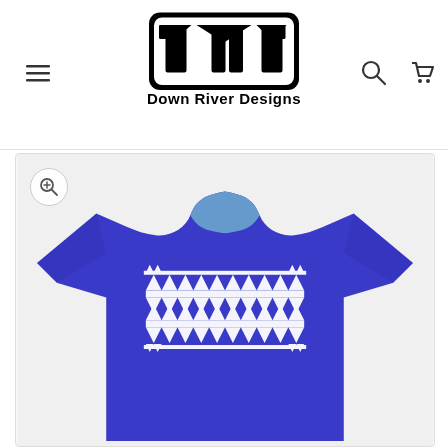[Figure (logo): Down River Designs logo with black geometric T-shaped symbol inside rounded rectangle, with text 'Down River Designs' below]
[Figure (photo): Blue royal t-shirt with white Native American zigzag/chevron pattern printed on the chest, shown flat on white background inside a product image viewer with zoom icon]